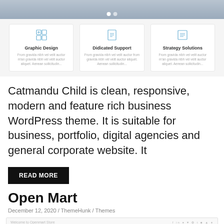[Figure (screenshot): Top banner image of a website with slider dots]
[Figure (infographic): Three feature cards: Graphic Design, Didicated Support, Strategy Solutions with icons and lorem ipsum text]
Catmandu Child is clean, responsive, modern and feature rich business WordPress theme. It is suitable for business, portfolio, digital agencies and general corporate website. It
READ MORE
Open Mart
December 12, 2020 / ThemeHunk / Themes
[Figure (screenshot): Screenshot of Open Mart WordPress theme showing the store header with logo, search bar, navigation menu in blue, and hero section with a circle icon and leather bag image]